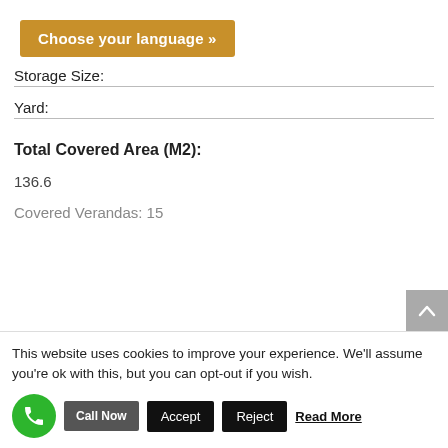Choose your language »
Storage Size:
Yard:
Total Covered Area (M2):
136.6
Covered Verandas: 15
This website uses cookies to improve your experience. We'll assume you're ok with this, but you can opt-out if you wish.